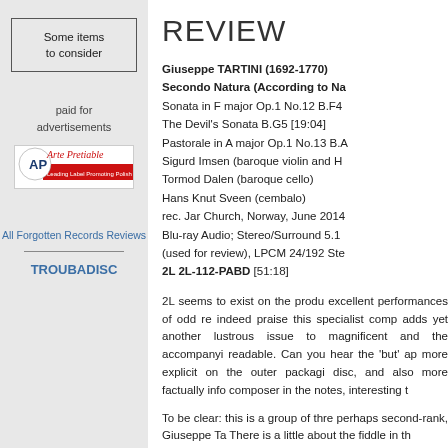Some items to consider
paid for advertisements
[Figure (logo): Arte Pretiable logo - Leading Label Promoting Polish Music]
All Forgotten Records Reviews
TROUBADISC
REVIEW
Giuseppe TARTINI (1692-1770)
Secondo Natura (According to Na
Sonata in F major Op.1 No.12 B.F4
The Devil's Sonata B.G5 [19:04]
Pastorale in A major Op.1 No.13 B.A
Sigurd Imsen (baroque violin and H
Tormod Dalen (baroque cello)
Hans Knut Sveen (cembalo)
rec. Jar Church, Norway, June 2014
Blu-ray Audio; Stereo/Surround 5.1
(used for review), LPCM 24/192 Ste
2L 2L-112-PABD [51:18]
2L seems to exist on the produ excellent performances of odd re indeed praise this specialist comp adds yet another lustrous issue to magnificent and the accompanyi readable. Can you hear the 'but' ap more explicit on the outer packagi disc, and also more factually info composer in the notes, interesting t
To be clear: this is a group of thre perhaps second-rank, Giuseppe Ta There is a little about the fiddle in th